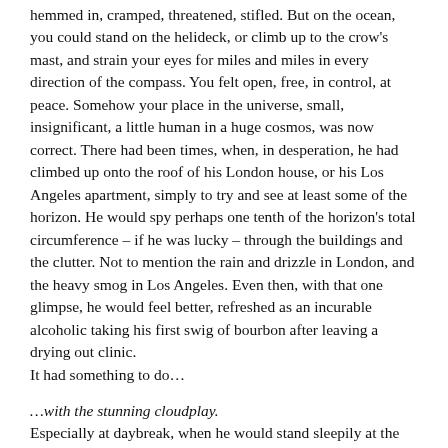hemmed in, cramped, threatened, stifled. But on the ocean, you could stand on the helideck, or climb up to the crow's mast, and strain your eyes for miles and miles in every direction of the compass. You felt open, free, in control, at peace. Somehow your place in the universe, small, insignificant, a little human in a huge cosmos, was now correct. There had been times, when, in desperation, he had climbed up onto the roof of his London house, or his Los Angeles apartment, simply to try and see at least some of the horizon. He would spy perhaps one tenth of the horizon's total circumference – if he was lucky – through the buildings and the clutter. Not to mention the rain and drizzle in London, and the heavy smog in Los Angeles. Even then, with that one glimpse, he would feel better, refreshed as an incurable alcoholic taking his first swig of bourbon after leaving a drying out clinic. It had something to do…
…with the stunning cloudplay. Especially at daybreak, when he would stand sleepily at the helicopter, preparing for yet another dawn patrol in search of breakfasting fish. When the interplay of darkness and light, color and reflection, would combine to really make him feel privileged to be alive. When he felt that each new day was indeed a gift. When he would feel profoundly grateful for the privilege of Life. Or at sunset, when he was tired, but thoughtful. When he could rest, and think, and immerse himself in the Universe. He would watch the first